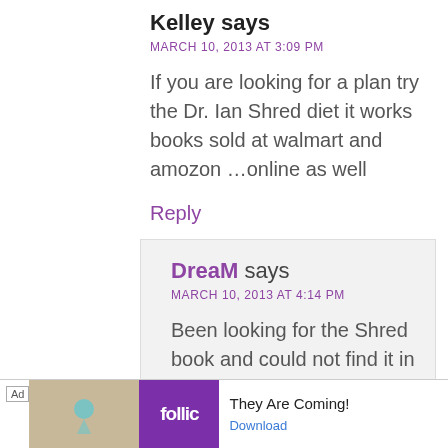Kelley says
MARCH 10, 2013 AT 3:09 PM
If you are looking for a plan try the Dr. Ian Shred diet it works books sold at walmart and amozon …online as well
Reply
DreaM says
MARCH 10, 2013 AT 4:14 PM
Been looking for the Shred book and could not find it in Walmart a month ago. Gonna go look again!
Ad  rollic  They Are Coming!  Download